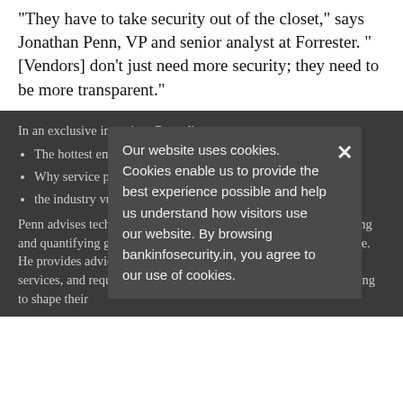"They have to take security out of the closet," says Jonathan Penn, VP and senior analyst at Forrester. "[Vendors] don't just need more security; they need to be more transparent."
In an exclusive interview, Penn discusses
The hottest emerging technologies;
Why service providers need to market their security better;
the industry vulnerabilities and how to address them.
Penn advises tech industry vendor strategy professionals, predicting and quantifying growth and disruption in the technology landscape. He provides advice and support about IT security technologies, services, and requirements to vendors and service providers, helping to shape their
Our website uses cookies. Cookies enable us to provide the best experience possible and help us understand how visitors use our website. By browsing bankinfosecurity.in, you agree to our use of cookies.